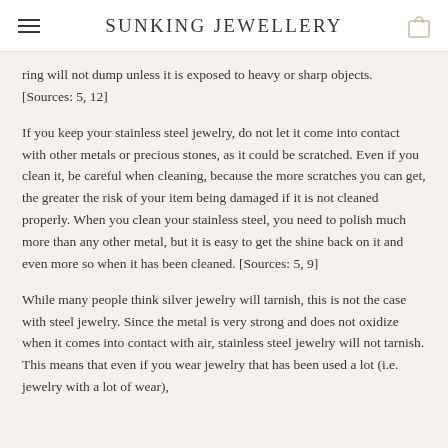SUNKING JEWELLERY
ring will not dump unless it is exposed to heavy or sharp objects. [Sources: 5, 12]
If you keep your stainless steel jewelry, do not let it come into contact with other metals or precious stones, as it could be scratched. Even if you clean it, be careful when cleaning, because the more scratches you can get, the greater the risk of your item being damaged if it is not cleaned properly. When you clean your stainless steel, you need to polish much more than any other metal, but it is easy to get the shine back on it and even more so when it has been cleaned. [Sources: 5, 9]
While many people think silver jewelry will tarnish, this is not the case with steel jewelry. Since the metal is very strong and does not oxidize when it comes into contact with air, stainless steel jewelry will not tarnish. This means that even if you wear jewelry that has been used a lot (i.e. jewelry with a lot of wear),